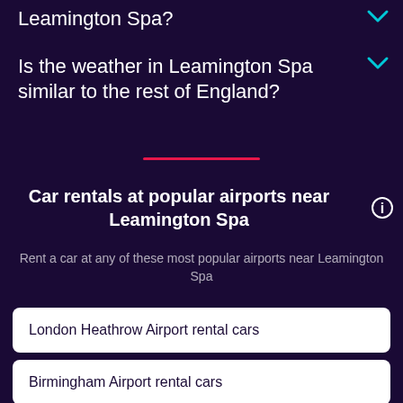Leamington Spa?
Is the weather in Leamington Spa similar to the rest of England?
Car rentals at popular airports near Leamington Spa
Rent a car at any of these most popular airports near Leamington Spa
London Heathrow Airport rental cars
Birmingham Airport rental cars